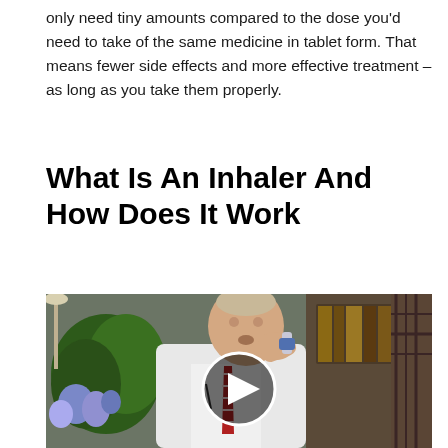only need tiny amounts compared to the dose you'd need to take of the same medicine in tablet form. That means fewer side effects and more effective treatment – as long as you take them properly.
What Is An Inhaler And How Does It Work
[Figure (photo): Video thumbnail showing a doctor in a white coat and red striped tie demonstrating how to use an inhaler, holding it to his mouth. A play button overlay is centered on the image. Background shows a bookshelf and plants.]